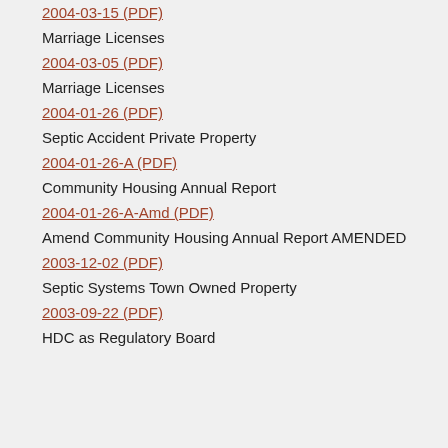2004-03-15 (PDF)
Marriage Licenses
2004-03-05 (PDF)
Marriage Licenses
2004-01-26 (PDF)
Septic Accident Private Property
2004-01-26-A (PDF)
Community Housing Annual Report
2004-01-26-A-Amd (PDF)
Amend Community Housing Annual Report AMENDED
2003-12-02 (PDF)
Septic Systems Town Owned Property
2003-09-22 (PDF)
HDC as Regulatory Board